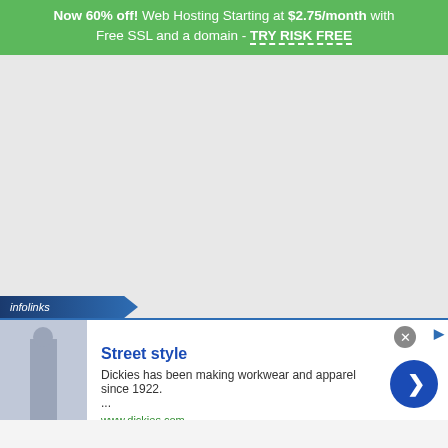[Figure (infographic): Green banner advertisement: 'Now 60% off! Web Hosting Starting at $2.75/month with Free SSL and a domain - TRY RISK FREE']
[Figure (infographic): Infolinks ad network banner with Street style advertisement for Dickies workwear. Shows thumbnail image, title 'Street style', description 'Dickies has been making workwear and apparel since 1922. ...', URL 'www.dickies.com', blue navigation arrow button, close X button.]